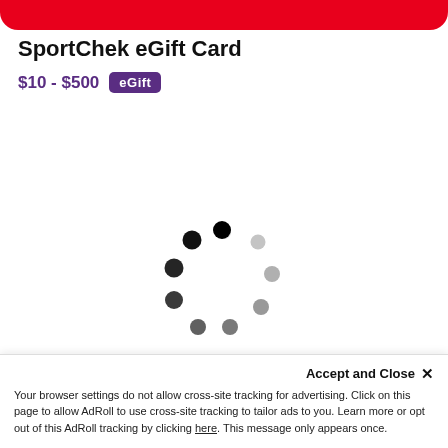SportChek eGift Card
$10 - $500 eGift
[Figure (other): Loading spinner animation composed of 10 circles of varying shades from black to light gray arranged in a circular pattern]
Accept and Close ✕
Your browser settings do not allow cross-site tracking for advertising. Click on this page to allow AdRoll to use cross-site tracking to tailor ads to you. Learn more or opt out of this AdRoll tracking by clicking here. This message only appears once.